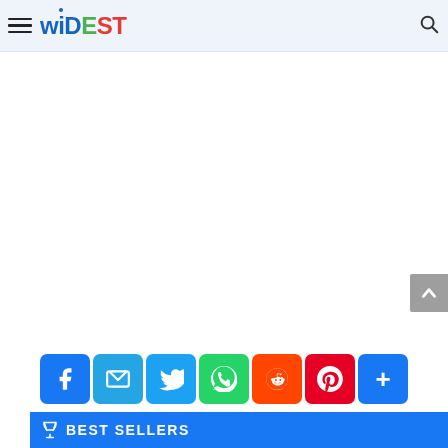WIDEST - navigation header with hamburger menu and search icon
[Figure (screenshot): White empty content area]
[Figure (infographic): Social share buttons: Facebook, Email, Twitter, WhatsApp, Reddit, Pinterest, More (+)]
[Figure (infographic): Best Sellers banner in blue with trophy icon and white text BEST SELLERS]